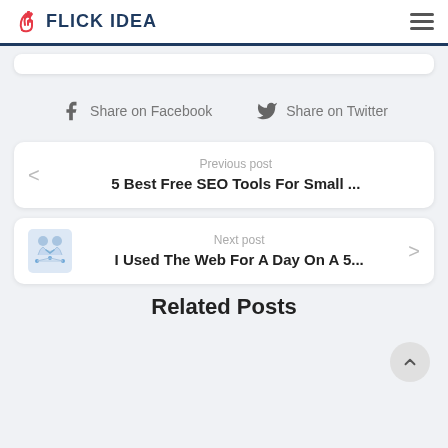FLICK IDEA
Share on Facebook   Share on Twitter
Previous post
5 Best Free SEO Tools For Small ...
Next post
I Used The Web For A Day On A 5...
Related Posts